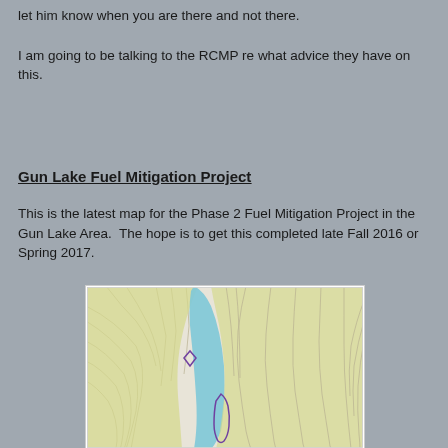let him know when you are there and not there.
I am going to be talking to the RCMP re what advice they have on this.
Gun Lake Fuel Mitigation Project
This is the latest map for the Phase 2 Fuel Mitigation Project in the Gun Lake Area.  The hope is to get this completed late Fall 2016 or Spring 2017.
[Figure (map): Map of Gun Lake area showing Phase 2 Fuel Mitigation Project zones marked with purple outlines, with a blue lake/water body in the center, yellow-green forested areas on either side, and contour lines throughout the terrain.]